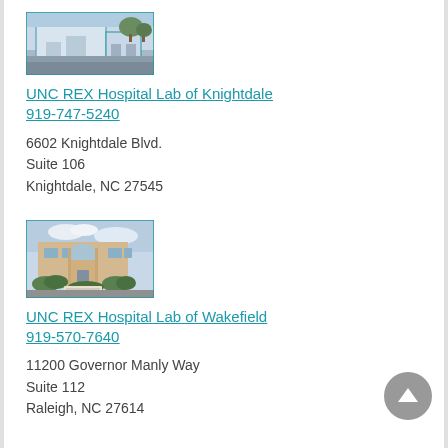[Figure (photo): Exterior photo of UNC REX Hospital Lab of Knightdale building — modern glass and concrete structure with trees]
UNC REX Hospital Lab of Knightdale
919-747-5240
6602 Knightdale Blvd.
Suite 106
Knightdale, NC 27545
[Figure (photo): Exterior photo of UNC REX Hospital Lab of Wakefield — brick building with entry sign and shrubs]
UNC REX Hospital Lab of Wakefield
919-570-7640
11200 Governor Manly Way
Suite 112
Raleigh, NC 27614